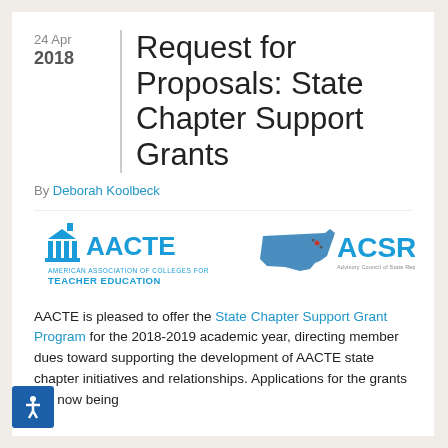24 Apr 2018
Request for Proposals: State Chapter Support Grants
By Deborah Koolbeck
[Figure (logo): AACTE (American Association of Colleges for Teacher Education) logo and ACSR (Advisory Council of State Representatives) logo side by side]
AACTE is pleased to offer the State Chapter Support Grant Program for the 2018-2019 academic year, directing member dues toward supporting the development of AACTE state chapter initiatives and relationships. Applications for the grants are now being